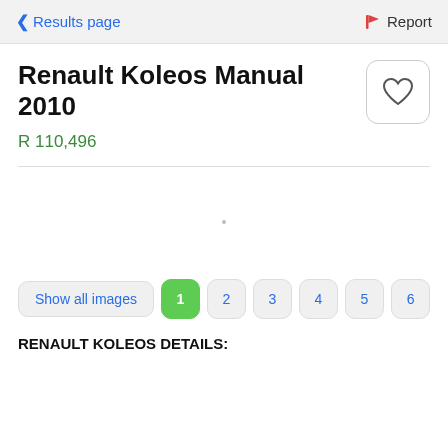< Results page    🚩 Report
Renault Koleos Manual 2010
R 110,496
[Figure (illustration): Heart/favorite icon button with rounded rectangle border]
[Figure (screenshot): Empty image area with a small dot/placeholder indicator]
Show all images  1  2  3  4  5  6
RENAULT KOLEOS DETAILS: